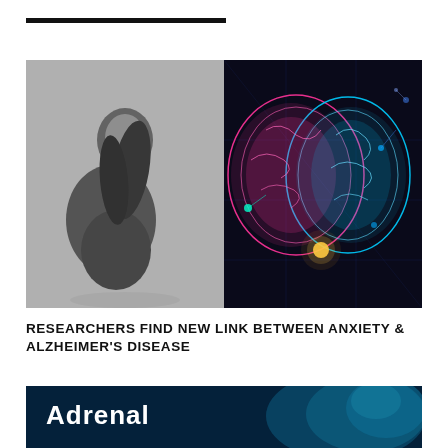[Figure (photo): Split image: left side shows a black and white photo of a person sitting hunched over with knees drawn up; right side shows a neon glowing brain illustration split pink and blue on dark background with circuit lines]
RESEARCHERS FIND NEW LINK BETWEEN ANXIETY & ALZHEIMER'S DISEASE
[Figure (photo): Dark blue medical image showing internal organs/adrenal glands with overlay text 'Adrenal Insufficiency']